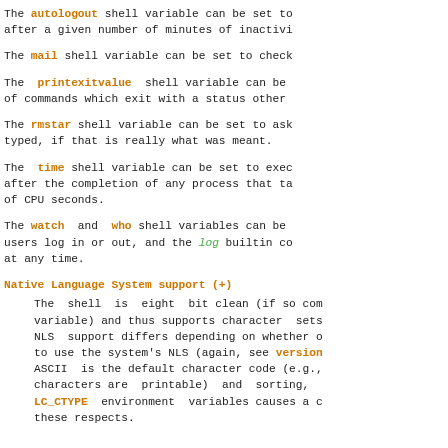The autologout shell variable can be set to after a given number of minutes of inactivi
The mail shell variable can be set to check
The printexitvalue shell variable can be of commands which exit with a status other
The rmstar shell variable can be set to ask typed, if that is really what was meant.
The time shell variable can be set to exec after the completion of any process that ta of CPU seconds.
The watch and who shell variables can be users log in or out, and the log builtin co at any time.
Native Language System support (+)
The shell is eight bit clean (if so com variable) and thus supports character sets NLS support differs depending on whether o to use the system's NLS (again, see version ASCII is the default character code (e.g., characters are printable) and sorting, LC_CTYPE environment variables causes a c these respects.